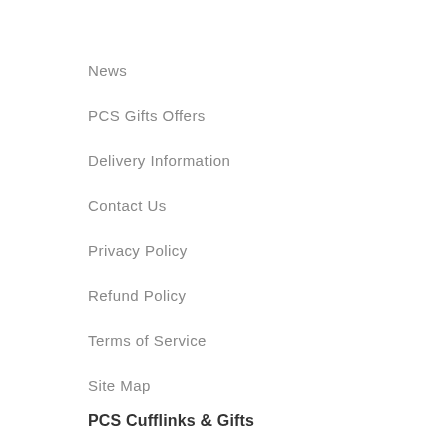News
PCS Gifts Offers
Delivery Information
Contact Us
Privacy Policy
Refund Policy
Terms of Service
Site Map
PCS Cufflinks & Gifts